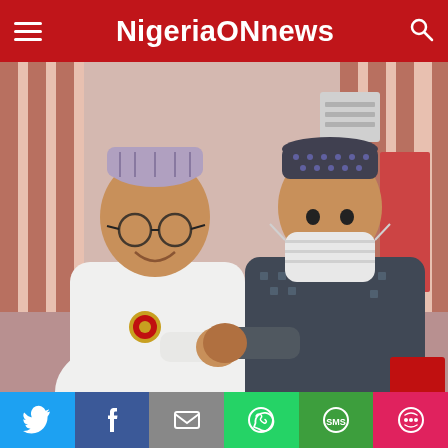NigeriaONnews
[Figure (photo): Two men doing an elbow bump greeting. Left man wears white traditional Nigerian attire with a cap and glasses, smiling. Right man wears dark patterned traditional attire with a cap and a white face mask. Interior background with decorative curtains.]
Social share buttons: Twitter, Facebook, Email, WhatsApp, SMS, Share